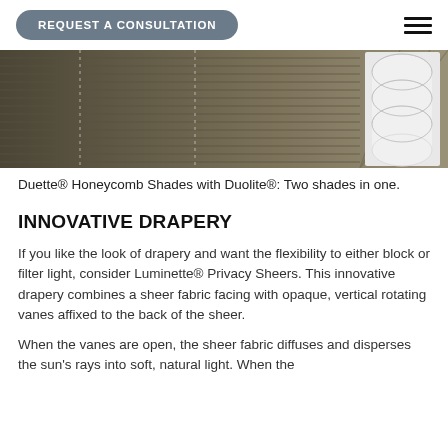REQUEST A CONSULTATION
[Figure (photo): Close-up photo of Duette Honeycomb Shades with Duolite showing tan/beige pleated fabric with white cylindrical roll mechanism on the right side]
Duette® Honeycomb Shades with Duolite®: Two shades in one.
INNOVATIVE DRAPERY
If you like the look of drapery and want the flexibility to either block or filter light, consider Luminette® Privacy Sheers. This innovative drapery combines a sheer fabric facing with opaque, vertical rotating vanes affixed to the back of the sheer.
When the vanes are open, the sheer fabric diffuses and disperses the sun's rays into soft, natural light. When the